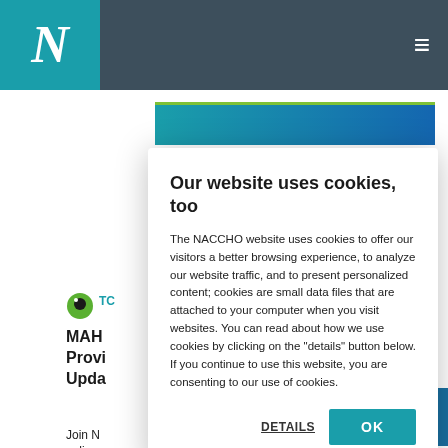[Figure (screenshot): NACCHO website navigation bar with teal logo block showing 'N' and dark gray background with hamburger menu icon]
[Figure (screenshot): Background website content partially visible behind modal, showing blue banner image and truncated article title starting with 'MAH...' 'Provi...' 'Upda...' and text 'Join N...' 'online.']
Our website uses cookies, too
The NACCHO website uses cookies to offer our visitors a better browsing experience, to analyze our website traffic, and to present personalized content; cookies are small data files that are attached to your computer when you visit websites. You can read about how we use cookies by clicking on the "details" button below. If you continue to use this website, you are consenting to our use of cookies.
DETAILS
OK